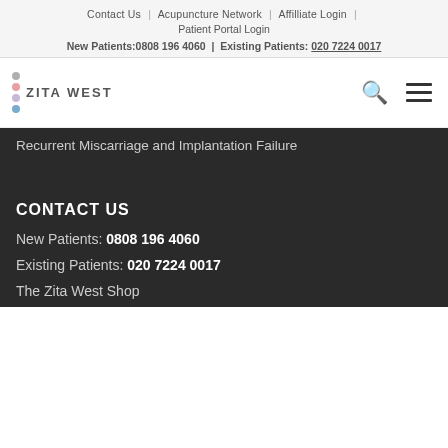Contact Us | Acupuncture Network | Affilliate Login | Patient Portal Login
New Patients:0808 196 4060 | Existing Patients: 020 7224 0017
[Figure (logo): Zita West logo with colored dots and text ZITA WEST]
Recurrent Miscarriage and Implantation Failure
CONTACT US
New Patients: 0808 196 4060
Existing Patients: 020 7224 0017
The Zita West Shop